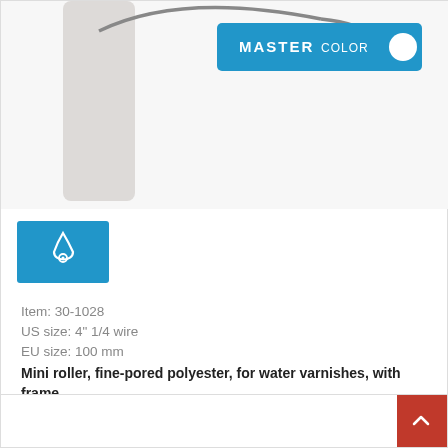[Figure (photo): Mini paint roller with white foam roller head and blue MASTER COLOR branded handle/frame, shown partially cropped at top of product card]
[Figure (infographic): Blue rectangular icon box with white water droplet icon indicating water-based product]
Item: 30-1028
US size: 4" 1/4 wire
EU size: 100 mm
Mini roller, fine-pored polyester, for water varnishes, with frame
WATER BASED ENAMELS